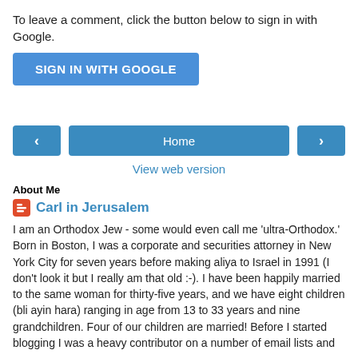To leave a comment, click the button below to sign in with Google.
[Figure (other): Blue button labeled SIGN IN WITH GOOGLE]
[Figure (other): Navigation row with left arrow button, Home button, and right arrow button]
View web version
About Me
Carl in Jerusalem
I am an Orthodox Jew - some would even call me 'ultra-Orthodox.' Born in Boston, I was a corporate and securities attorney in New York City for seven years before making aliya to Israel in 1991 (I don't look it but I really am that old :-). I have been happily married to the same woman for thirty-five years, and we have eight children (bli ayin hara) ranging in age from 13 to 33 years and nine grandchildren. Four of our children are married! Before I started blogging I was a heavy contributor on a number of email lists and